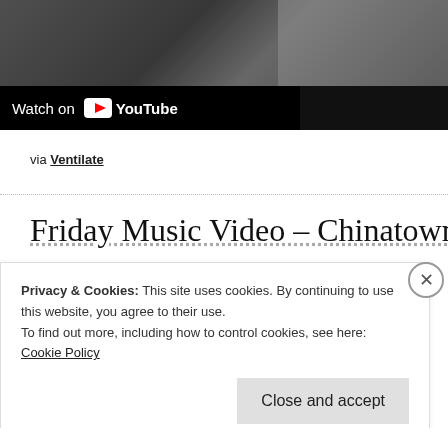[Figure (screenshot): YouTube video thumbnail with 'Watch on YouTube' bar at the bottom left, dark/black and white imagery]
via Ventilate
Friday Music Video – Chinatown – C
Privacy & Cookies: This site uses cookies. By continuing to use this website, you agree to their use.
To find out more, including how to control cookies, see here: Cookie Policy
Close and accept